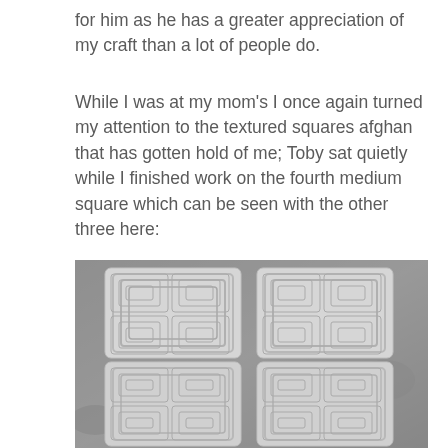for him as he has a greater appreciation of my craft than a lot of people do.
While I was at my mom’s I once again turned my attention to the textured squares afghan that has gotten hold of me; Toby sat quietly while I finished work on the fourth medium square which can be seen with the other three here:
[Figure (photo): Black and white photograph of four crocheted textured squares arranged in a 2x2 grid on a concrete floor. Each large square is made up of four smaller textured squares with concentric square patterns.]